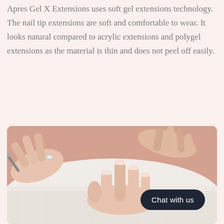Apres Gel X Extensions uses soft gel extensions technology. The nail tip extensions are soft and comfortable to wear. It looks natural compared to acrylic extensions and polygel extensions as the material is thin and does not peel off easily.
[Figure (photo): Close-up photo of a nail technician applying gel nail extensions to a client's hand resting on a white towel. The technician's hands are visible holding tools and working on the client's nails.]
Chat with us